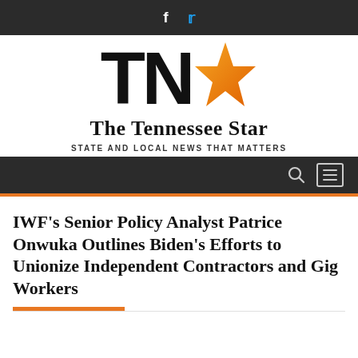Social media icons: Facebook, Twitter
[Figure (logo): The Tennessee Star logo with TN letters in black and an orange star, subtitle 'The Tennessee Star', tagline 'STATE AND LOCAL NEWS THAT MATTERS']
Navigation bar with search and menu icons
IWF's Senior Policy Analyst Patrice Onwuka Outlines Biden's Efforts to Unionize Independent Contractors and Gig Workers